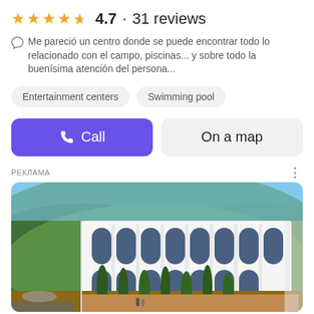4.7 · 31 reviews (4.5 stars shown)
Me pareció un centro donde se puede encontrar todo lo relacionado con el campo, piscinas... y sobre todo la buenísima atención del persona...
Entertainment centers
Swimming pool
Call
On a map
РЕКЛАМА
[Figure (photo): Aerial/perspective photo of a white multi-story building complex with Gothic arched windows, surrounded by tall cypress trees and landscaped greenery, with forested hills in the background. People and cars visible in foreground.]
Купите таунхаус в Батуми!